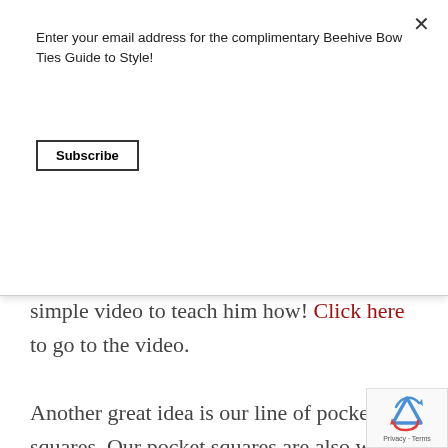Enter your email address for the complimentary Beehive Bow Ties Guide to Style!
Subscribe
know how tie his own bow tie we have a simple video to teach him how! Click here to go to the video.
Another great idea is our line of pocket squares. Our pocket squares are also woven over in England, and they all have hand- rolled edges. Hand- rolled edges are a sign that the pock square is made very well, and that it is